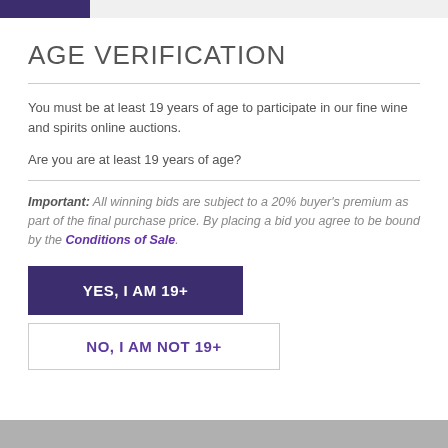AGE VERIFICATION
You must be at least 19 years of age to participate in our fine wine and spirits online auctions.
Are you are at least 19 years of age?
Important: All winning bids are subject to a 20% buyer's premium as part of the final purchase price. By placing a bid you agree to be bound by the Conditions of Sale.
YES, I AM 19+
NO, I AM NOT 19+